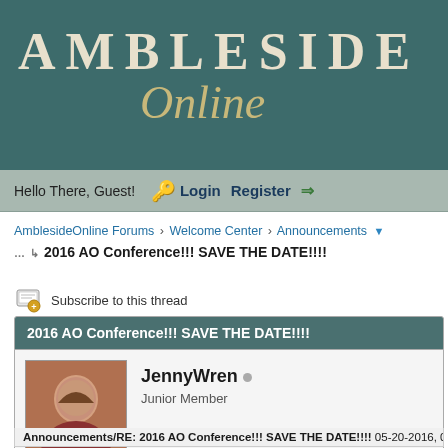[Figure (logo): Ambleside Online website header/logo with teal background, showing 'AMBLESIDE' in large uppercase serif letters and 'Online' in gold italic script below]
Hello There, Guest! 🔑 Login  Register ➡
AmblesideOnline Forums › Welcome Center › Announcements
2016 AO Conference!!! SAVE THE DATE!!!!
Subscribe to this thread
2016 AO Conference!!! SAVE THE DATE!!!!
JennyWren
Junior Member
Announcements/RE: 2016 AO Conference!!! SAVE THE DATE!!!!  05-20-2016, 03:02